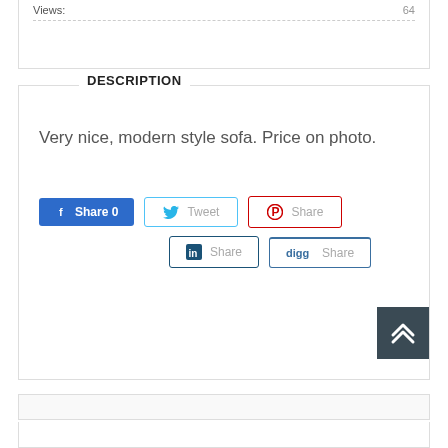Views: 64
DESCRIPTION
Very nice, modern style sofa. Price on photo.
[Figure (infographic): Social share buttons: Facebook Share 0, Twitter Tweet, Pinterest Share, LinkedIn Share, Digg Share]
[Figure (infographic): Scroll to top button with double chevron up arrow]